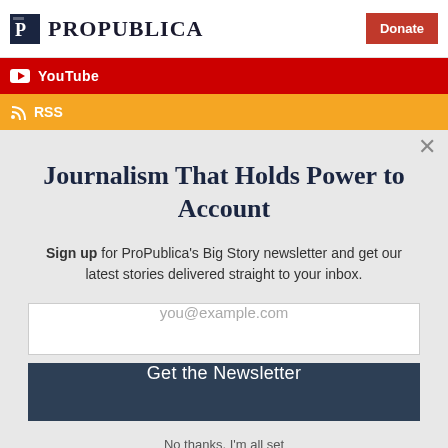ProPublica | Donate
YouTube
RSS
Journalism That Holds Power to Account
Sign up for ProPublica's Big Story newsletter and get our latest stories delivered straight to your inbox.
you@example.com
Get the Newsletter
No thanks, I'm all set
This site is protected by reCAPTCHA and the Google Privacy Policy and Terms of Service apply.